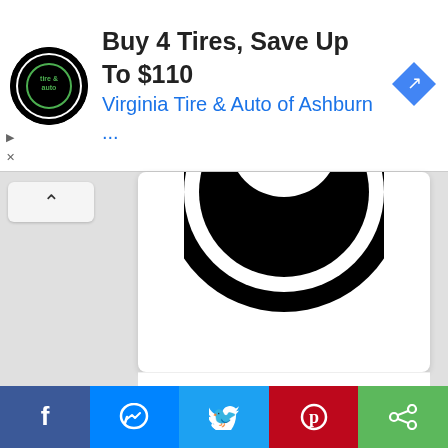[Figure (screenshot): Advertisement banner: Virginia Tire & Auto logo, text 'Buy 4 Tires, Save Up To $110' and 'Virginia Tire & Auto of Ashburn ...' with navigation arrow icon]
[Figure (logo): Partial CBS eye logo (black circular eye shape on white background)]
CBS
62.2
[Figure (logo): PBS KIDS logo: green circle with cartoon kid face and PBS KIDS text in thought bubble]
[Figure (screenshot): Social sharing bar with Facebook, Messenger, Twitter, Pinterest, and Share buttons]